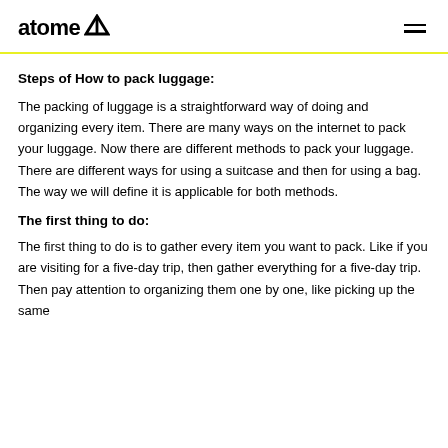atome
Steps of How to pack luggage:
The packing of luggage is a straightforward way of doing and organizing every item. There are many ways on the internet to pack your luggage. Now there are different methods to pack your luggage. There are different ways for using a suitcase and then for using a bag. The way we will define it is applicable for both methods.
The first thing to do:
The first thing to do is to gather every item you want to pack. Like if you are visiting for a five-day trip, then gather everything for a five-day trip. Then pay attention to organizing them one by one, like picking up the same